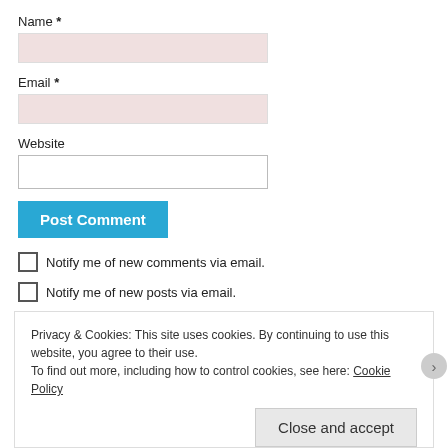Name *
[Figure (other): Pink/rose colored input field for Name]
Email *
[Figure (other): Pink/rose colored input field for Email]
Website
[Figure (other): White input field for Website]
Post Comment
Notify me of new comments via email.
Notify me of new posts via email.
Privacy & Cookies: This site uses cookies. By continuing to use this website, you agree to their use. To find out more, including how to control cookies, see here: Cookie Policy
Close and accept